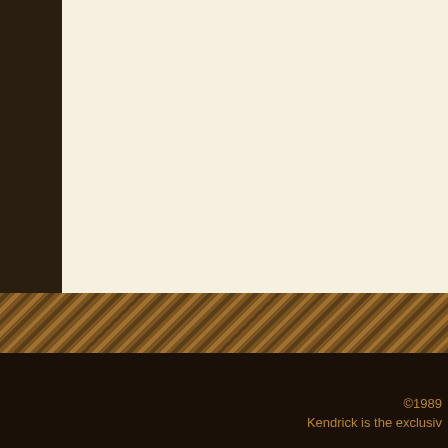new Kendrick sounds as weekend (sometimes fou recommend this amp to a the Chicagoland area ne band.
Steve Reynolds Worth, Il
I just had the pleasure of original test pilot) at the R with a 50 watt Marshall o order a new one. I am als humbuckers – just turn it harmonic overtones and small package, built like a
Big Al Bettis Houston, Te
©1989 Kendrick is the exclusiv